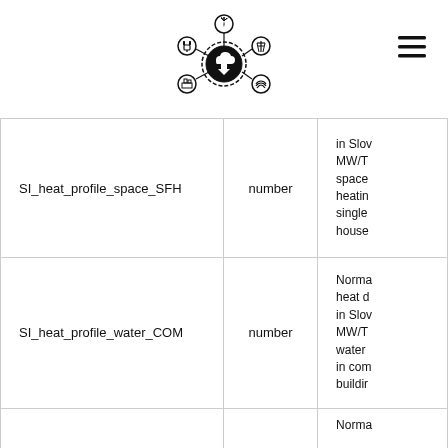[Figure (logo): Energy network hub logo with icons for wind, electric plug, transmission tower, cloud/data center, industrial, and solar/wave energy arranged around a central hub]
| SI_heat_profile_space_SFH | number | in Slov MW/T space heatin single house |
| SI_heat_profile_water_COM | number | Norma heat d in Slov MW/T water in com buildir |
|  |  | Norma |